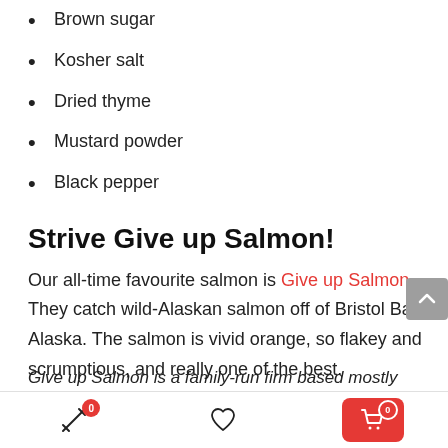Brown sugar
Kosher salt
Dried thyme
Mustard powder
Black pepper
Strive Give up Salmon!
Our all-time favourite salmon is Give up Salmon. They catch wild-Alaskan salmon off of Bristol Bay in Alaska. The salmon is vivid orange, so flakey and scrumptious, and really one of the best.
Give up Salmon is a family-run firm based mostly